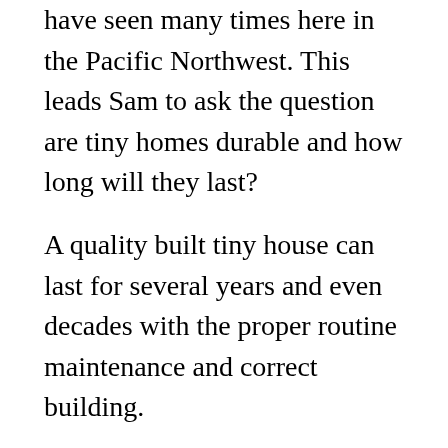have seen many times here in the Pacific Northwest. This leads Sam to ask the question are tiny homes durable and how long will they last?
A quality built tiny house can last for several years and even decades with the proper routine maintenance and correct building.
The wear and tear you should expect on a tiny house
All types of structures experience normal wear and tear, even the backyard storage shed at a traditional home will experience wear and tear with time. Every single item within any home will see age and loss of usefulness and as such products are often